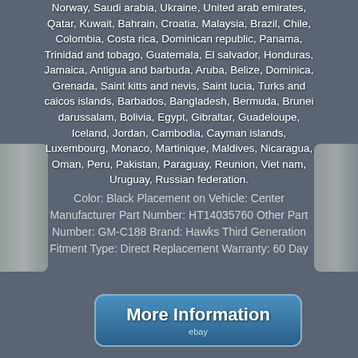Norway, Saudi arabia, Ukraine, United arab emirates, Qatar, Kuwait, Bahrain, Croatia, Malaysia, Brazil, Chile, Colombia, Costa rica, Dominican republic, Panama, Trinidad and tobago, Guatemala, El salvador, Honduras, Jamaica, Antigua and barbuda, Aruba, Belize, Dominica, Grenada, Saint kitts and nevis, Saint lucia, Turks and caicos islands, Barbados, Bangladesh, Bermuda, Brunei darussalam, Bolivia, Egypt, Gibraltar, Guadeloupe, Iceland, Jordan, Cambodia, Cayman islands, Luxembourg, Monaco, Martinique, Maldives, Nicaragua, Oman, Peru, Pakistan, Paraguay, Reunion, Viet nam, Uruguay, Russian federation.
Color: Black Placement on Vehicle: Center Manufacturer Part Number: HT14035760 Other Part Number: GM-C188 Brand: Hawks Third Generation Fitment Type: Direct Replacement Warranty: 60 Day
[Figure (other): Blue rounded rectangle button with text 'More Information' and 'ebay' subtitle]